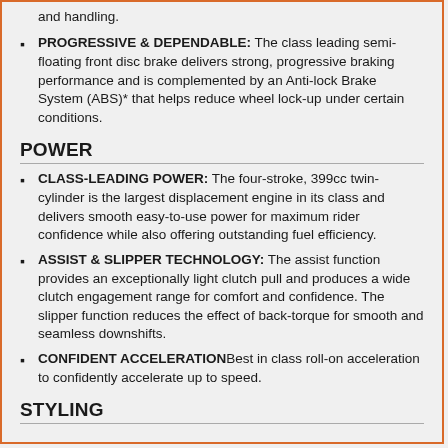and handling.
PROGRESSIVE & DEPENDABLE: The class leading semi-floating front disc brake delivers strong, progressive braking performance and is complemented by an Anti-lock Brake System (ABS)* that helps reduce wheel lock-up under certain conditions.
POWER
CLASS-LEADING POWER: The four-stroke, 399cc twin-cylinder is the largest displacement engine in its class and delivers smooth easy-to-use power for maximum rider confidence while also offering outstanding fuel efficiency.
ASSIST & SLIPPER TECHNOLOGY: The assist function provides an exceptionally light clutch pull and produces a wide clutch engagement range for comfort and confidence. The slipper function reduces the effect of back-torque for smooth and seamless downshifts.
CONFIDENT ACCELERATIONBest in class roll-on acceleration to confidently accelerate up to speed.
STYLING